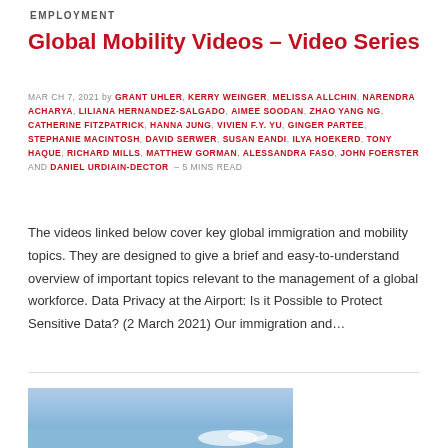EMPLOYMENT
Global Mobility Videos – Video Series
MARCH 7, 2021 by GRANT UHLER, KERRY WEINGER, MELISSA ALLCHIN, NARENDRA ACHARYA, LILIANA HERNANDEZ-SALGADO, AIMEE SOODAN, ZHAO YANG NG, CATHERINE FITZPATRICK, HANNA JUNG, VIVIEN F.Y. YU, GINGER PARTEE, STEPHANIE MACINTOSH, DAVID SERWER, SUSAN EANDI, ILYA HOEKERD, TONY HAQUE, RICHARD MILLS, MATTHEW GORMAN, ALESSANDRA FASO, JOHN FOERSTER AND DANIEL URDIAIN-DECTOR – 5 MINS READ
The videos linked below cover key global immigration and mobility topics. They are designed to give a brief and easy-to-understand overview of important topics relevant to the management of a global workforce. Data Privacy at the Airport: Is it Possible to Protect Sensitive Data? (2 March 2021) Our immigration and…
[Figure (photo): Photograph of modern city skyscrapers under a blue sky with clouds]